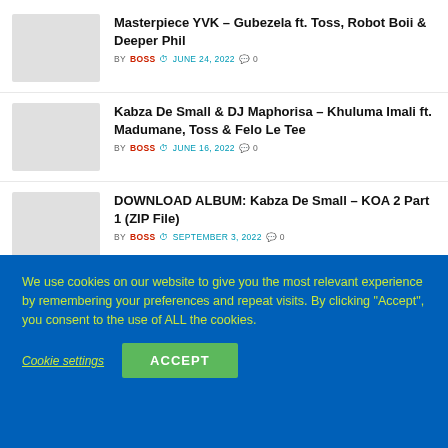Masterpiece YVK – Gubezela ft. Toss, Robot Boii & Deeper Phil | BY BOSS | JUNE 24, 2022 | 0
Kabza De Small & DJ Maphorisa – Khuluma Imali ft. Madumane, Toss & Felo Le Tee | BY BOSS | JUNE 16, 2022 | 0
DOWNLOAD ALBUM: Kabza De Small – KOA 2 Part 1 (ZIP File) | BY BOSS | SEPTEMBER 3, 2022 | 0
We use cookies on our website to give you the most relevant experience by remembering your preferences and repeat visits. By clicking "Accept", you consent to the use of ALL the cookies.
Cookie settings | ACCEPT